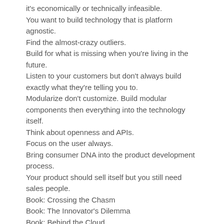it's economically or technically infeasible.
You want to build technology that is platform agnostic.
Find the almost-crazy outliers.
Build for what is missing when you're living in the future.
Listen to your customers but don't always build exactly what they're telling you to.
Modularize don't customize. Build modular components then everything into the technology itself.
Think about openness and APIs.
Focus on the user always.
Bring consumer DNA into the product development process.
Your product should sell itself but you still need sales people.
Book: Crossing the Chasm
Book: The Innovator's Dilemma
Book: Behind the Cloud
This entry was posted in How to Start a Startup and tagged startup on November 19, 2014.